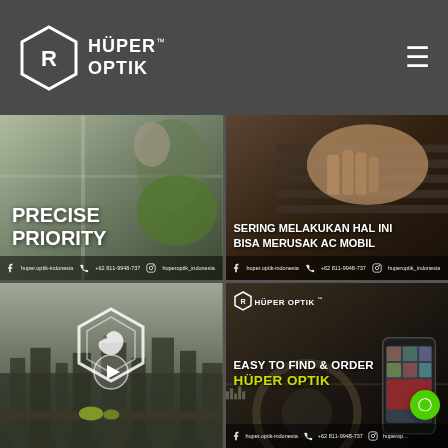HÜPER OPTIK™
[Figure (screenshot): Top-left cell: Person applying window tint film, text overlay 'PRECISE PRIORITY', social media bar at bottom]
[Figure (screenshot): Top-right cell: Hand near car AC vent, text overlay 'SERING MELAKUKAN HAL INI BISA MERUSAK AC MOBIL', social media bar]
[Figure (screenshot): Bottom-left cell: Hüper Optik logo hexagon overlay on cityscape background with play button, lime fruit on windowsill]
[Figure (screenshot): Bottom-right cell: Car interior with phone mount, text 'EASY TO FIND & ORDER HÜPER OPTIK', Hüper Optik logo at top, social media bar, green chat bubble]